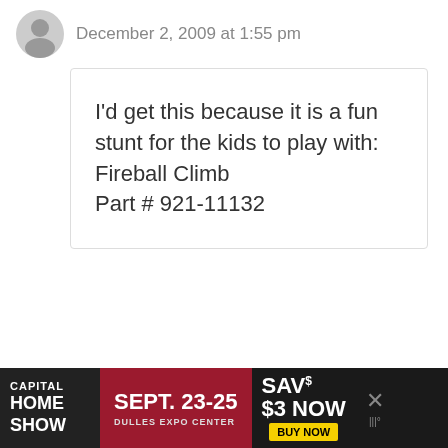December 2, 2009 at 1:55 pm
I'd get this because it is a fun stunt for the kids to play with: Fireball Climb
Part # 921-11132
Carol
December 2, 2009 at 1:56 pm
[Figure (other): Advertisement banner: Capital Home Show, Sept. 23-25, Dulles Expo Center, Save $3 Now, Buy Now]